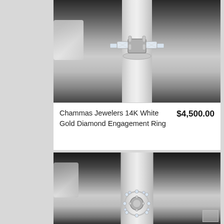[Figure (photo): Top-view photo of a 14K white gold diamond engagement ring setting displayed on a ring display stand, with other jewelry items visible in the background on a dark surface.]
Chammas Jewelers 14K White Gold Diamond Engagement Ring
$4,500.00
[Figure (photo): Second photo of a diamond engagement ring setting with halo design displayed on a ring display stand, viewed from slightly farther away showing the full stand.]